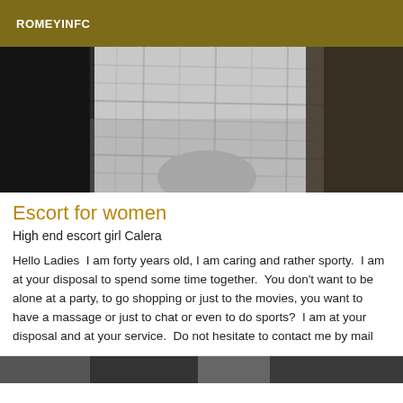ROMEYINFC
[Figure (photo): Black and white close-up photo of a person in a plaid shirt, showing torso and arm area against a dark background.]
Escort for women
High end escort girl Calera
Hello Ladies  I am forty years old, I am caring and rather sporty.  I am at your disposal to spend some time together.  You don't want to be alone at a party, to go shopping or just to the movies, you want to have a massage or just to chat or even to do sports?  I am at your disposal and at your service.  Do not hesitate to contact me by mail
[Figure (photo): Partial view of another photo at the bottom of the page, cut off.]